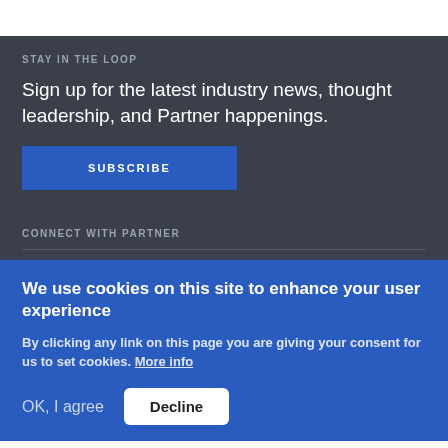STAY IN THE LOOP
Sign up for the latest industry news, thought leadership, and Partner happenings.
SUBSCRIBE
CONNECT WITH PARTNER
We use cookies on this site to enhance your user experience
By clicking any link on this page you are giving your consent for us to set cookies. More info
OK, I agree   Decline